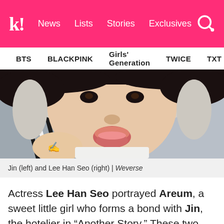Koreaboo | News  Lists  Stories  Exclusives
BTS  BLACKPINK  Girls' Generation  TWICE  TXT  SEVE
[Figure (photo): Close-up selfie of a young girl making a pout face, wearing a grey hooded jacket with fur trim and a black-and-white striped outfit underneath. A hand with a small drawing/stamp appears in the lower left.]
Jin (left) and Lee Han Seo (right) | Weverse
Actress Lee Han Seo portrayed Areum, a sweet little girl who forms a bond with Jin, the hotelier in “Another Story.” These two were truly an iconic duo.